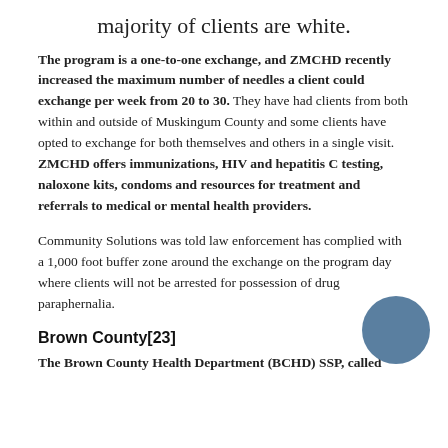majority of clients are white.
The program is a one-to-one exchange, and ZMCHD recently increased the maximum number of needles a client could exchange per week from 20 to 30. They have had clients from both within and outside of Muskingum County and some clients have opted to exchange for both themselves and others in a single visit. ZMCHD offers immunizations, HIV and hepatitis C testing, naloxone kits, condoms and resources for treatment and referrals to medical or mental health providers.
Community Solutions was told law enforcement has complied with a 1,000 foot buffer zone around the exchange on the program day where clients will not be arrested for possession of drug paraphernalia.
Brown County[23]
The Brown County Health Department (BCHD) SSP, called